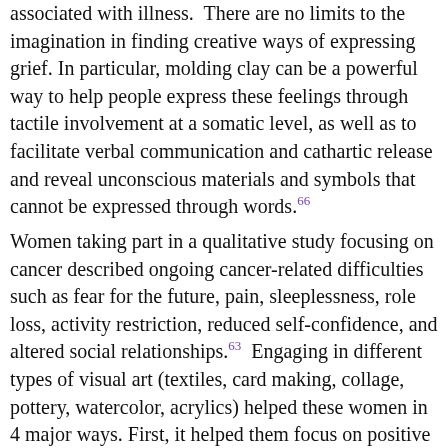associated with illness. There are no limits to the imagination in finding creative ways of expressing grief. In particular, molding clay can be a powerful way to help people express these feelings through tactile involvement at a somatic level, as well as to facilitate verbal communication and cathartic release and reveal unconscious materials and symbols that cannot be expressed through words.[66]
Women taking part in a qualitative study focusing on cancer described ongoing cancer-related difficulties such as fear for the future, pain, sleeplessness, role loss, activity restriction, reduced self-confidence, and altered social relationships.[63] Engaging in different types of visual art (textiles, card making, collage, pottery, watercolor, acrylics) helped these women in 4 major ways. First, it helped them focus on positive life experiences, relieving their ongoing preoccupation with cancer. Second, it enhanced their self-worth and identity by providing them with opportunities to